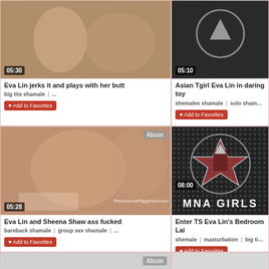[Figure (screenshot): Video thumbnail placeholder for Eva Lin jerks it and plays with her butt, duration 05:30]
Eva Lin jerks it and plays with her butt
big tits shamale | ...
♥ Add to Favorites
[Figure (screenshot): Video thumbnail for Asian Tgirl Eva Lin in daring toy, duration 05:10]
Asian Tgirl Eva Lin in daring toy
shemales shamale | solo shamale |
♥ Add to Favorites
[Figure (photo): Video thumbnail showing Eva Lin and Sheena Shaw, duration 05:28, with Abuse button, TranssexualPlayground.com watermark]
Eva Lin and Sheena Shaw ass fucked
bareback shamale | group sex shamale | ...
♥ Add to Favorites
[Figure (logo): MNA GIRLS logo on dark dotted background, duration 08:00]
Enter TS Eva Lin's Bedroom Lai
shemale | masturbation | big tits | ...
♥ Add to Favorites
[Figure (screenshot): Partial video thumbnail with Abuse button]
[Figure (screenshot): Empty right card bottom row]